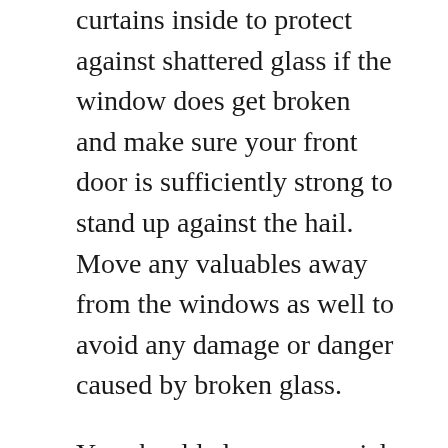curtains inside to protect against shattered glass if the window does get broken and make sure your front door is sufficiently strong to stand up against the hail. Move any valuables away from the windows as well to avoid any damage or danger caused by broken glass.
You should also pay special attention to your roof. Pick a quiet, storm-free period and get the roof inspected by a roof repair Omaha specialist or go up and inspect it yourself to find any damaged components, such as cracked or chipped tiles, buckled or torn shingles and install new roofing cover in areas where there are tiles or shingles missing. Inspect and repair the flashing on the roof, too – if the flashing is